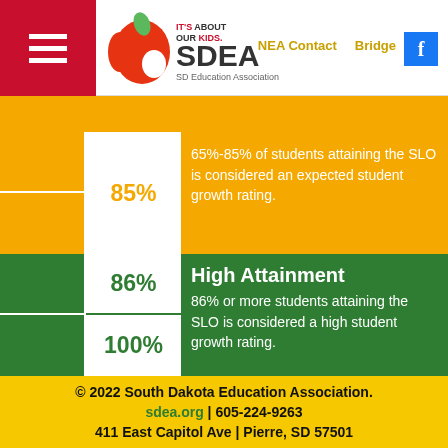[Figure (logo): SDEA South Dakota Education Association logo with apple graphic and 'It's About Our Kids' tagline]
NEA Contact   Bridge
|  | Percentage | Description |
| --- | --- | --- |
|  | 85% | 65%-85% of students attaining the SLO is considered an expected student growth rating. |
|  | 86% | High Attainment
86% or more students attaining the SLO is considered a high student growth rating. |
|  | 100% |  |
© 2022 South Dakota Education Association.
sdea.org | 605-224-9263
411 East Capitol Ave | Pierre, SD 57501